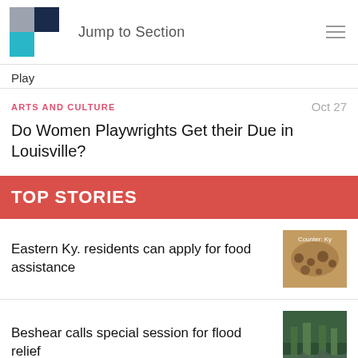Jump to Section
Play
ARTS AND CULTURE   Oct 27
Do Women Playwrights Get their Due in Louisville?
TOP STORIES
Eastern Ky. residents can apply for food assistance
[Figure (photo): Photo of food distribution crowd]
Beshear calls special session for flood relief
[Figure (photo): Photo of flood damage or forest scene]